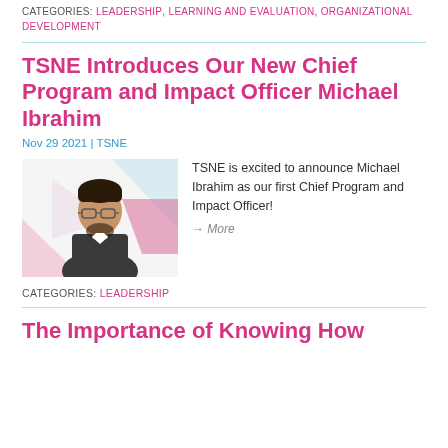CATEGORIES: Leadership, Learning And Evaluation, Organizational Development
TSNE Introduces Our New Chief Program and Impact Officer Michael Ibrahim
Nov 29 2021 | TSNE
[Figure (photo): Portrait photo of Michael Ibrahim with geometric triangle shapes in background]
TSNE is excited to announce Michael Ibrahim as our first Chief Program and Impact Officer!
→ More
CATEGORIES: Leadership
The Importance of Knowing How